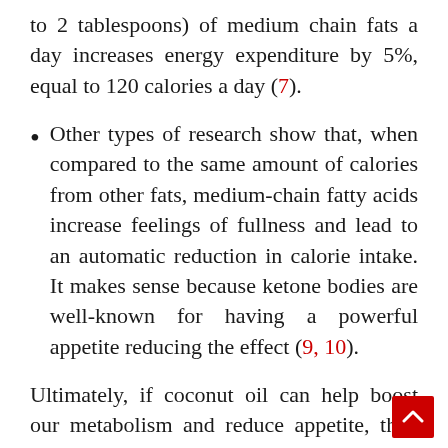to 2 tablespoons) of medium chain fats a day increases energy expenditure by 5%, equal to 120 calories a day (7).
Other types of research show that, when compared to the same amount of calories from other fats, medium-chain fatty acids increase feelings of fullness and lead to an automatic reduction in calorie intake. It makes sense because ketone bodies are well-known for having a powerful appetite reducing the effect (9, 10).
Ultimately, if coconut oil can help boost our metabolism and reduce appetite, then you'll be losing fat in the long-run. Coconut oil can support weight loss indirectly, the foundation